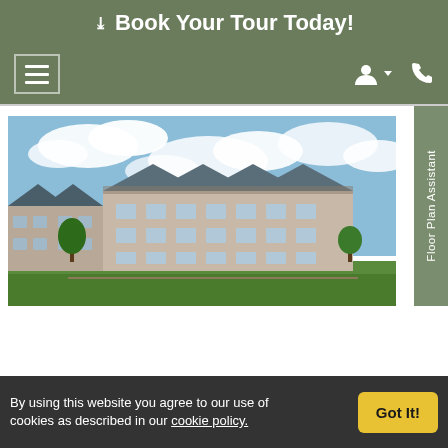Book Your Tour Today!
[Figure (screenshot): Navigation bar with hamburger menu on the left and person/phone icons on the right, on a green background]
[Figure (photo): Exterior photo of a multi-story apartment building complex with blue sky and clouds in the background, green lawn in the foreground]
Floor Plan Assistant
By using this website you agree to our use of cookies as described in our cookie policy.
Got It!